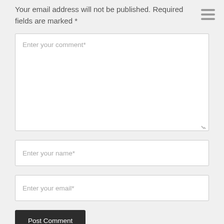Your email address will not be published. Required fields are marked *
[Figure (other): Hamburger menu icon — three horizontal grey bars stacked vertically]
Enter your comment*
Enter your name*
Enter your email*
Post Comment